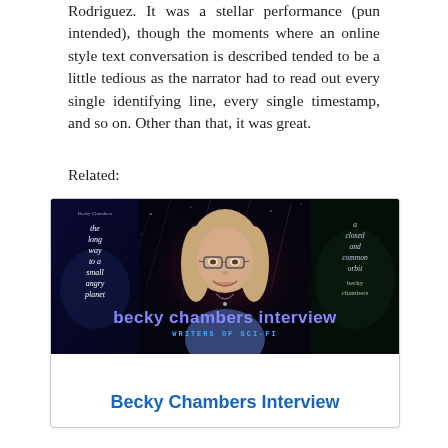Rodriguez. It was a stellar performance (pun intended), though the moments where an online style text conversation is described tended to be a little tedious as the narrator had to read out every single identifying line, every single timestamp, and so on. Other than that, it was great.
Related:
[Figure (photo): Promotional image for a Becky Chambers interview from 'Writers of Sci-Fi'. Shows two book covers ('The Long Way to a Small Angry Planet' on left and 'A Closed and Common Orbit' on right) flanking a smiling woman with glasses and light hair, against a starfield/nebula background. Text overlay reads 'becky chambers interview' and 'WRITERS OF SCI-FI'.]
Becky Chambers Interview